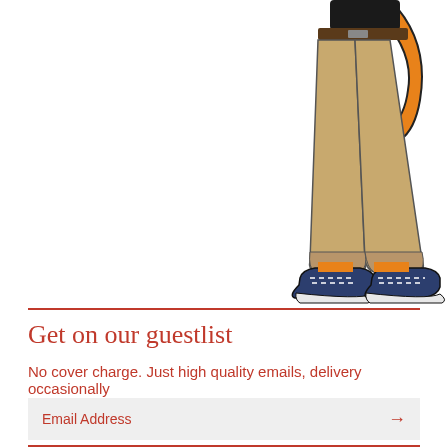[Figure (illustration): Cartoon illustration of a figure (animal character) wearing khaki pants, a black top with a belt, and dark sneakers with white soles and laces. An orange tail is visible. Only the lower body and legs are shown.]
Get on our guestlist
No cover charge. Just high quality emails, delivery occasionally
Email Address